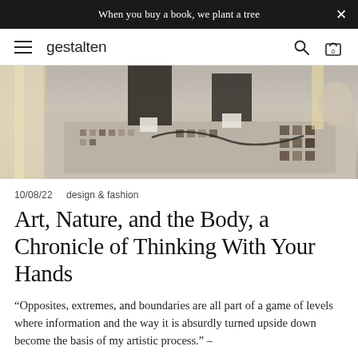When you buy a book, we plant a tree
gestalten
[Figure (photo): Close-up photo of a person working on a decorative tiled floor, feet and legs visible, with an intricate mosaic-like rug or tile pattern below]
10/08/22    design & fashion
Art, Nature, and the Body, a Chronicle of Thinking With Your Hands
“Opposites, extremes, and boundaries are all part of a game of levels where information and the way it is absurdly turned upside down become the basis of my artistic process.” –